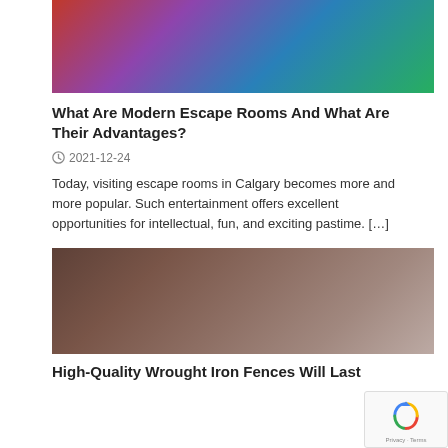[Figure (photo): Colorful escape room photo with people and decorations]
What Are Modern Escape Rooms And What Are Their Advantages?
2021-12-24
Today, visiting escape rooms in Calgary becomes more and more popular. Such entertainment offers excellent opportunities for intellectual, fun, and exciting pastime. […]
[Figure (photo): Wrought iron fence close-up photo]
High-Quality Wrought Iron Fences Will Last